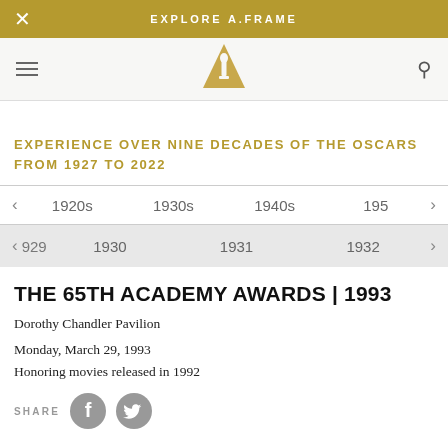EXPLORE A.FRAME
[Figure (logo): Academy Awards gold triangle/Oscar logo]
EXPERIENCE OVER NINE DECADES OF THE OSCARS FROM 1927 TO 2022
< 1920s 1930s 1940s 195 >
< 929 1930 1931 1932 >
THE 65TH ACADEMY AWARDS | 1993
Dorothy Chandler Pavilion
Monday, March 29, 1993
Honoring movies released in 1992
SHARE